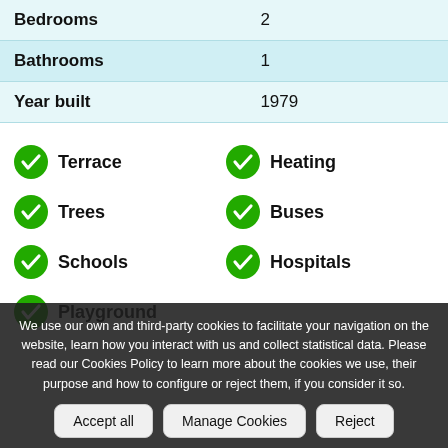| Bedrooms | 2 |
| Bathrooms | 1 |
| Year built | 1979 |
Terrace
Heating
Trees
Buses
Schools
Hospitals
Playground
We use our own and third-party cookies to facilitate your navigation on the website, learn how you interact with us and collect statistical data. Please read our Cookies Policy to learn more about the cookies we use, their purpose and how to configure or reject them, if you consider it so.
Accept all | Manage Cookies | Reject